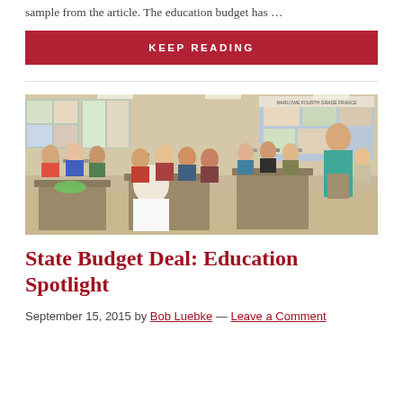sample from the article. The education budget has …
KEEP READING
[Figure (photo): Classroom scene showing students seated at desks and a teacher standing at the front of an elementary school classroom]
State Budget Deal: Education Spotlight
September 15, 2015 by Bob Luebke — Leave a Comment